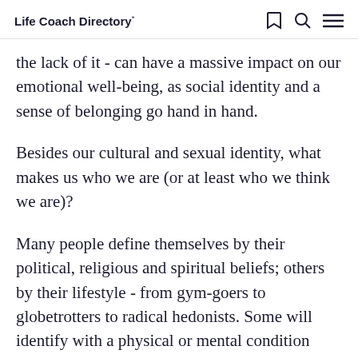Life Coach Directory
the lack of it - can have a massive impact on our emotional well-being, as social identity and a sense of belonging go hand in hand.
Besides our cultural and sexual identity, what makes us who we are (or at least who we think we are)?
Many people define themselves by their political, religious and spiritual beliefs; others by their lifestyle - from gym-goers to globetrotters to radical hedonists. Some will identify with a physical or mental condition they might have, and many more with their material possessions - clothes, cars, properties.